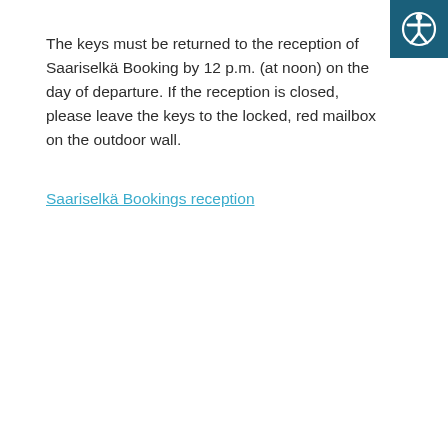The keys must be returned to the reception of Saariselkä Booking by 12 p.m. (at noon) on the day of departure. If the reception is closed, please leave the keys to the locked, red mailbox on the outdoor wall.
Saariselkä Bookings reception
[Figure (illustration): Accessibility icon: a white human figure with arms and legs spread in a circle, on a dark teal/navy square background, positioned in the top-right corner.]